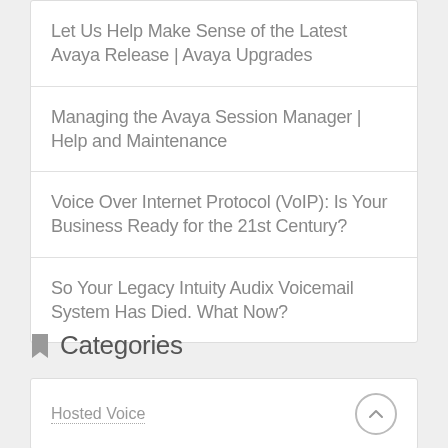Let Us Help Make Sense of the Latest Avaya Release | Avaya Upgrades
Managing the Avaya Session Manager | Help and Maintenance
Voice Over Internet Protocol (VoIP): Is Your Business Ready for the 21st Century?
So Your Legacy Intuity Audix Voicemail System Has Died. What Now?
Categories
Hosted Voice